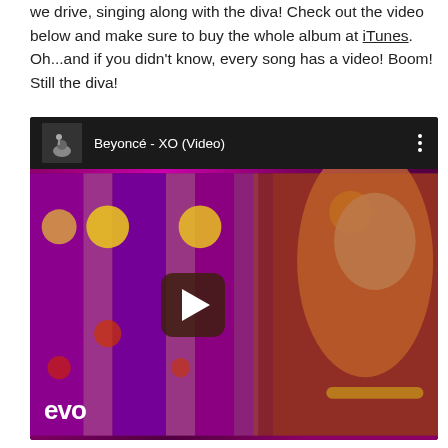we drive, singing along with the diva! Check out the video below and make sure to buy the whole album at iTunes. Oh...and if you didn't know, every song has a video! Boom! Still the diva!
[Figure (screenshot): Embedded YouTube video player showing Beyoncé - XO (Video) with a dark top bar containing a thumbnail, title, and three-dot menu. The video thumbnail shows a woman with blonde hair in a carnival/colorful setting. A play button is visible in the center. The 'evo' watermark appears in the bottom-left corner.]